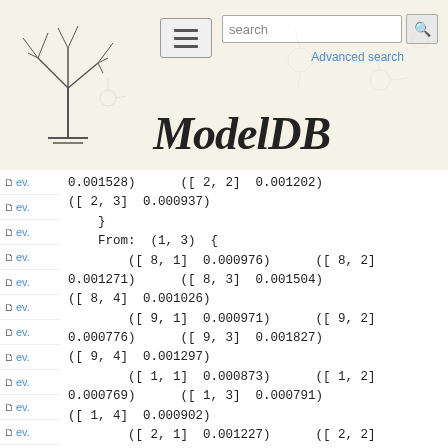[Figure (screenshot): ModelDB website header with logo, hamburger menu, search bar, and ModelDB italic title]
ev. (sidebar navigation items list)
Code block showing neural model data:
0.001528)      ([ 2, 2]  0.001202)
([ 2, 3]  0.000937)
    }
    From:  (1, 3)  {
        ([ 8, 1]  0.000976)      ([ 8, 2]
0.001271)      ([ 8, 3]  0.001504)
([ 8, 4]  0.001026)
        ([ 9, 1]  0.000971)      ([ 9, 2]
0.000776)      ([ 9, 3]  0.001827)
([ 9, 4]  0.001297)
        ([ 1, 1]  0.000873)      ([ 1, 2]
0.000769)      ([ 1, 3]  0.000791)
([ 1, 4]  0.000902)
        ([ 2, 1]  0.001227)      ([ 2, 2]
0.001125)      ([ 2, 3]  0.001644)
([ 2, 4]  0.001097)
    }
    From:  (1, 4)  {
        ([ 8, 2]  0.001552)      ([ 8, 3]
0.001484)      ([ 8, 4]  0.001539)